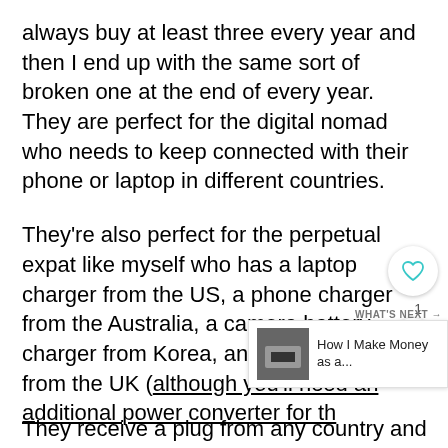always buy at least three every year and then I end up with the same sort of broken one at the end of every year. They are perfect for the digital nomad who needs to keep connected with their phone or laptop in different countries.
They're also perfect for the perpetual expat like myself who has a laptop charger from the US, a phone charger from the Australia, a camera battery charger from Korea, and ha straightener from the UK (although you'll need an additional power converter for th…
They receive a plug from any country and…